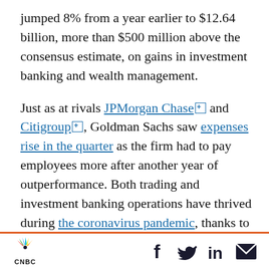jumped 8% from a year earlier to $12.64 billion, more than $500 million above the consensus estimate, on gains in investment banking and wealth management.
Just as at rivals JPMorgan Chase and Citigroup, Goldman Sachs saw expenses rise in the quarter as the firm had to pay employees more after another year of outperformance. Both trading and investment banking operations have thrived during the coronavirus pandemic, thanks to a booming period in capital markets that suited Goldman's Wall Street-centric business model.
CNBC | Social share icons: Facebook, Twitter, LinkedIn, Email